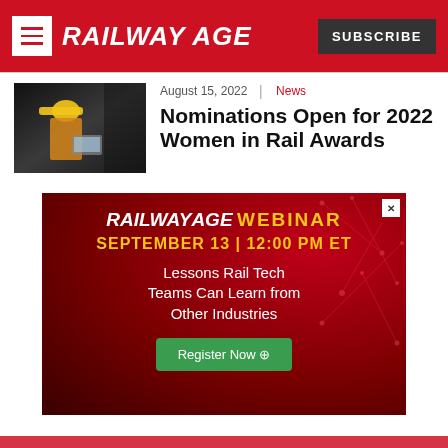RAILWAY AGE | SUBSCRIBE
August 15, 2022 | News
Nominations Open for 2022 Women in Rail Awards
[Figure (infographic): Railway Age Webinar advertisement. Dark red background with network pattern. Text: RAILWAY AGE WEBINAR / SEPTEMBER 13 | 12:00 PM ET / Lessons Rail Tech Teams Can Learn from Other Industries / Register Now button]
[Figure (photo): Woman in yellow hard hat looking at a tablet/device in an industrial/rail setting]